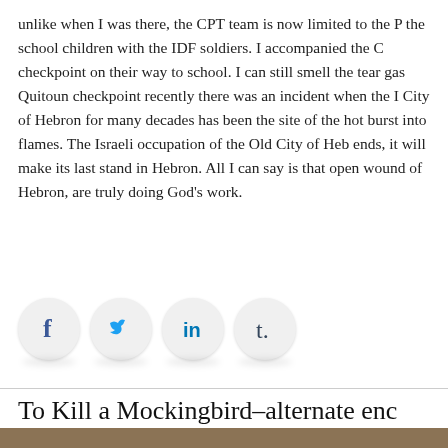unlike when I was there, the CPT team is now limited to the P... the school children with the IDF soldiers. I accompanied the C... checkpoint on their way to school. I can still smell the tear gas... Quitoun checkpoint recently there was an incident when the I... City of Hebron for many decades has been the site of the hot... burst into flames. The Israeli occupation of the Old City of Heb... ends, it will make its last stand in Hebron. All I can say is that... open wound of Hebron, are truly doing God's work.
[Figure (infographic): Social sharing icons: Facebook (f), Twitter (bird), LinkedIn (in), Tumblr (t) — circular grey buttons with drop shadows]
To Kill a Mockingbird–alternate enc...
[Figure (photo): Partial bottom image strip, dark brownish color]